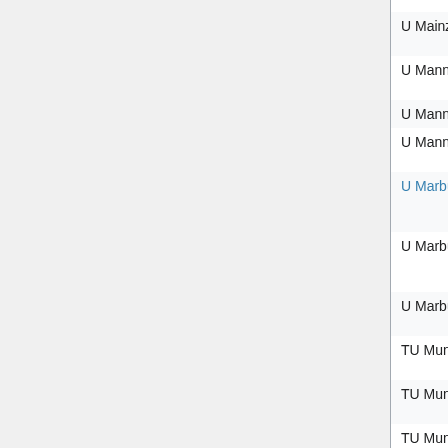| Institution | Area | Date | Name |
| --- | --- | --- | --- |
| U Magdeburg | combinat (W2) | Apr 16, 2011 | Nill |
| U Mainz | probability | expired | Matthias Birkner |
| U Mannheim | appl analysis (W3) | Aug 15, 2012 | Li C |
| U Mannheim | optim (W3) | Sep 8, 2013 | filled |
| U Mannheim | stoch (W1/tt) | Sep 22, 2013 | Leif [134] |
| U Marburg [link] | numerical (W3) | May 14, 2010 | Mas Form [135] |
| U Marburg | stoch (W2) | Sep 21, 2012 | Matthias Vetter [136] |
| U Marburg | alg/cplx geom (W3) | Oct 25, 2013 |  |
| TU Munich | appl algebra (W2) | Jan 31, 2011 |  |
| TU Munich | algebra (W2/tt) | Oct 15, 2011 |  |
| TU Munich | biostat (W3) | Oct 24, 2011 | Axe |